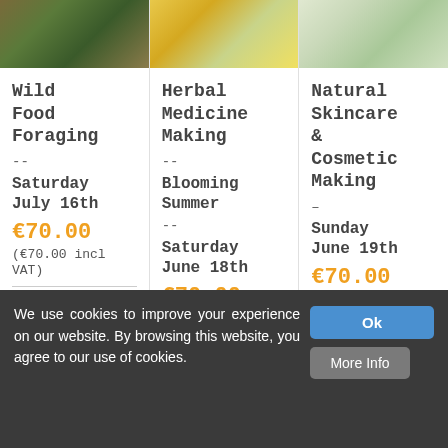[Figure (photo): Photo of wild food/herbs in bowls, foraging imagery]
Wild Food Foraging – Saturday July 16th
€70.00
(€70.00 incl VAT)
Details
[Figure (photo): Photo of herbal medicine making, bottles and herbs]
Herbal Medicine Making – Blooming Summer – Saturday June 18th
€70.00
[Figure (photo): Photo of natural skincare products and plants]
Natural Skincare & Cosmetic Making – Sunday June 19th
€70.00
(€70.00 incl VAT)
We use cookies to improve your experience on our website. By browsing this website, you agree to our use of cookies.